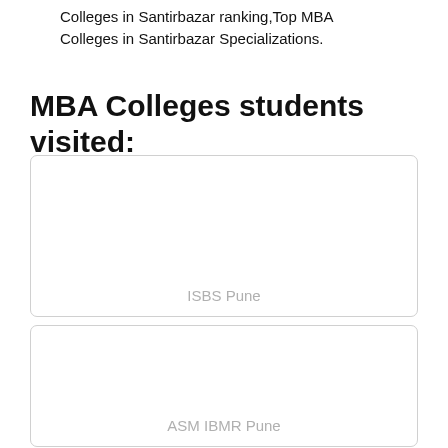Colleges in Santirbazar ranking,Top MBA Colleges in Santirbazar Specializations.
MBA Colleges students visited:
[Figure (other): Card placeholder for ISBS Pune college listing]
ISBS Pune
[Figure (other): Card placeholder for ASM IBMR Pune college listing]
ASM IBMR Pune